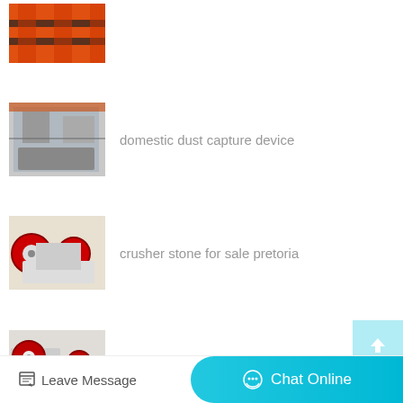[Figure (photo): Orange/red industrial motor or roller component]
[Figure (photo): Large industrial mobile crushing/processing machine in factory]
domestic dust capture device
[Figure (photo): Jaw crusher stone crushing machine for sale]
crusher stone for sale pretoria
[Figure (photo): Jaw crushers from Japan with red wheels]
crushers from japan
[Figure (photo): Madonna rock crusher machine in industrial setting]
madonna rock crusher liberia
Leave Message
Chat Online